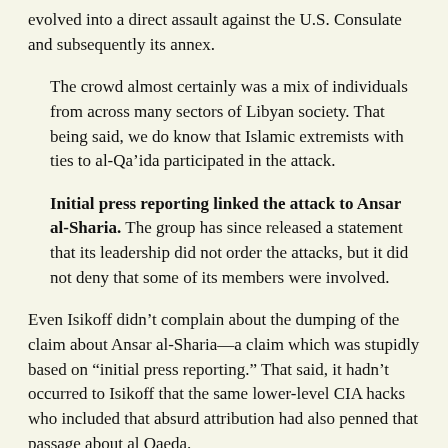evolved into a direct assault against the U.S. Consulate and subsequently its annex.
The crowd almost certainly was a mix of individuals from across many sectors of Libyan society. That being said, we do know that Islamic extremists with ties to al-Qa’ida participated in the attack.
Initial press reporting linked the attack to Ansar al-Sharia. The group has since released a statement that its leadership did not order the attacks, but it did not deny that some of its members were involved.
Even Isikoff didn’t complain about the dumping of the claim about Ansar al-Sharia—a claim which was stupidly based on “initial press reporting.” That said, it hadn’t occurred to Isikoff that the same lower-level CIA hacks who included that absurd attribution had also penned that passage about al Qaeda.
Did the CIA really “know” that some of the extremists in question had “ties to al Qaeda,” whatever that fuzzy statement might mean? It didn’t seem to have occurred to Isikoff that this initial claim may